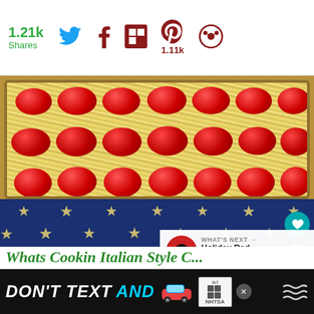[Figure (screenshot): Social sharing bar showing 1.21k shares with Twitter, Facebook, Flipboard, Pinterest (1.11k), and other share icons]
[Figure (photo): Photo of a casserole dish with pasta topped with rows of red cherry tomatoes, placed on an American flag tablecloth with stars pattern. Overlay shows heart and share buttons, and a 'What's Next' panel for 'Holiday Red White and...' Also shows the blog name 'Whats Cookin Italian Style C...' in green script font.]
[Figure (infographic): Ad banner at the bottom: DON'T TEXT AND [car emoji] ad, NHTSA branding, with close button]